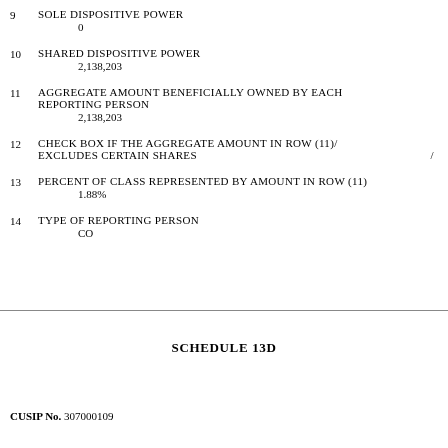9   SOLE DISPOSITIVE POWER
          0
10      SHARED DISPOSITIVE POWER
          2,138,203
11      AGGREGATE AMOUNT BENEFICIALLY OWNED BY EACH REPORTING PERSON
          2,138,203
12      CHECK BOX IF THE AGGREGATE AMOUNT IN ROW (11)/ EXCLUDES CERTAIN SHARES   /
13      PERCENT OF CLASS REPRESENTED BY AMOUNT IN ROW (11)
          1.88%
14      TYPE OF REPORTING PERSON
          CO
SCHEDULE 13D
CUSIP No. 307000109